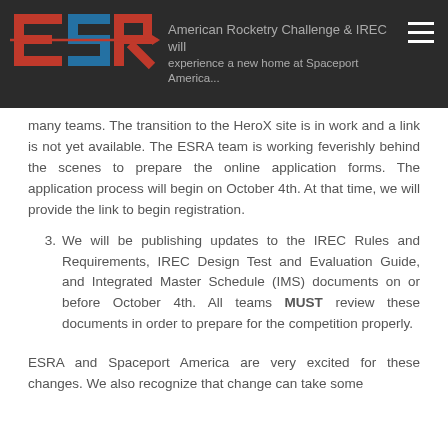ESRA logo and navigation header bar
many teams. The transition to the HeroX site is in work and a link is not yet available. The ESRA team is working feverishly behind the scenes to prepare the online application forms. The application process will begin on October 4th. At that time, we will provide the link to begin registration.
3. We will be publishing updates to the IREC Rules and Requirements, IREC Design Test and Evaluation Guide, and Integrated Master Schedule (IMS) documents on or before October 4th. All teams MUST review these documents in order to prepare for the competition properly.
ESRA and Spaceport America are very excited for these changes. We also recognize that change can take some